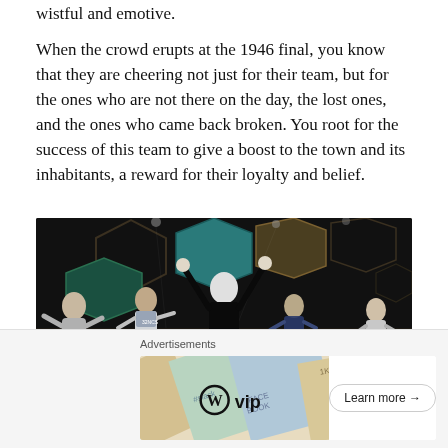wistful and emotive.
When the crowd erupts at the 1946 final, you know that they are cheering not just for their team, but for the ones who are not there on the day, the lost ones, and the ones who came back broken. You root for the success of this team to give a boost to the town and its inhabitants, a reward for their loyalty and belief.
[Figure (photo): Theatre stage performance showing several actors celebrating with arms raised, set against a backdrop of large illuminated hexagonal shapes in teal and gold tones. The cast appears jubilant in a sports drama scene.]
Advertisements
[Figure (other): Advertisement banner featuring WordPress VIP logo on the left with a colorful diagonal card/tag design background (showing slack, FACEBOOK labels), and a 'Learn more →' button on the right.]